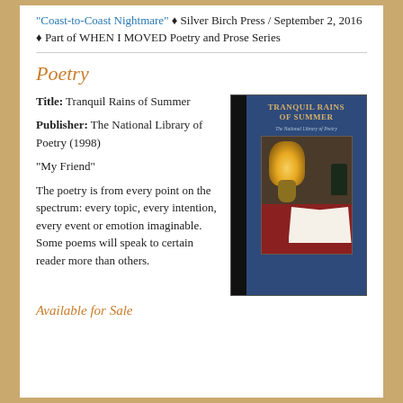“Coast-to-Coast Nightmare” ◆ Silver Birch Press / September 2, 2016 ◆ Part of WHEN I MOVED Poetry and Prose Series
Poetry
Title: Tranquil Rains of Summer
Publisher: The National Library of Poetry (1998)
“My Friend”
The poetry is from every point on the spectrum: every topic, every intention, every event or emotion imaginable. Some poems will speak to certain reader more than others.
[Figure (illustration): Book cover of 'Tranquil Rains of Summer' by The National Library of Poetry, showing a dark blue cover with gold title text and an illustration of a lit oil lamp, an open book, and a dark vase on a red table surface.]
Available for Sale